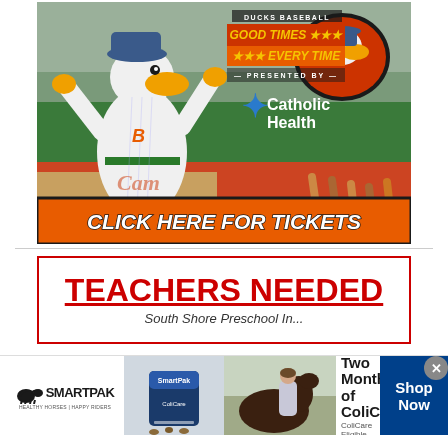[Figure (photo): Ducks Baseball advertisement featuring a duck mascot in a baseball uniform with arms raised, on a baseball field. Logo reads 'DUCKS BASEBALL GOOD TIMES EVERY TIME presented by Catholic Health'. Orange banner at bottom reads 'CLICK HERE FOR TICKETS'.]
[Figure (infographic): Teachers Needed advertisement with red border and red underlined text 'TEACHERS NEEDED' followed by 'South Shore Preschool In...']
[Figure (infographic): SmartPak advertisement banner. Left side shows SmartPak logo with horse icon, product image, horse photo. Right side: '50% Off Two Months of ColiCare. ColiCare Eligible Supplements. CODE: COLICARE10'. Blue button 'Shop Now'. X close button in top right.]